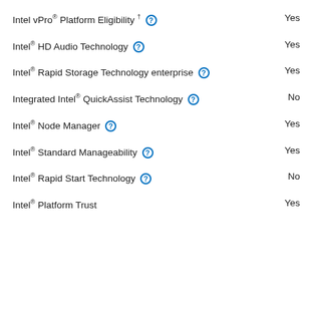Intel vPro® Platform Eligibility † [?]   Yes
Intel® HD Audio Technology [?]   Yes
Intel® Rapid Storage Technology enterprise [?]   Yes
Integrated Intel® QuickAssist Technology [?]   No
Intel® Node Manager [?]   Yes
Intel® Standard Manageability [?]   Yes
Intel® Rapid Start Technology [?]   No
Intel® Platform Trust   Yes